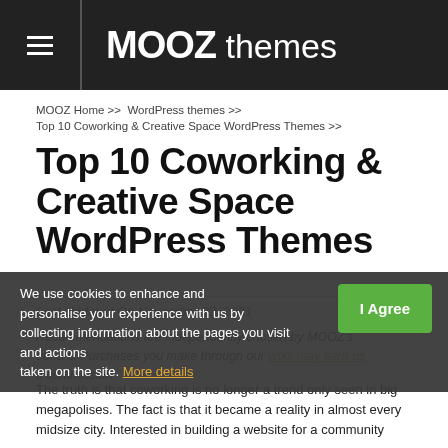MOOZ themes
MOOZ Home >> WordPress themes >> Top 10 Coworking & Creative Space WordPress Themes >>
Top 10 Coworking & Creative Space WordPress Themes
Last Updated On November 22, 2021
Recommendations are independently chosen by MOOZ's editors. Purchases you make through our links may earn us a commission.
We use cookies to enhance and personalise your experience with us by collecting information about the pages you visit and actions taken on the site. More details
The truth is that coworking is no longer a trend only seen in big megapolises. The fact is that it became a reality in almost every midsize city. Interested in building a website for a community coworking…